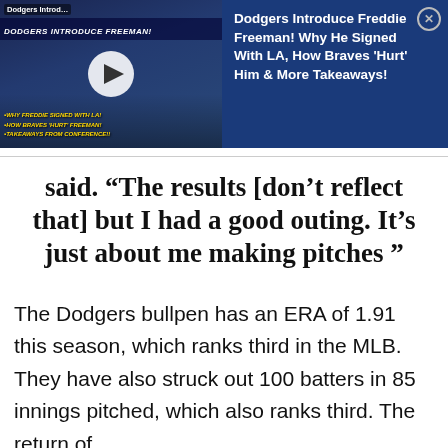[Figure (screenshot): Video thumbnail showing Dodgers Introduce Freddie Freeman promotional image with play button overlay, alongside a blue panel with the title 'Dodgers Introduce Freddie Freeman! Why He Signed With LA, How Braves Hurt Him & More Takeaways!' and a close button.]
said. “The results [don’t reflect that] but I had a good outing. It’s just about me making pitches ”
The Dodgers bullpen has an ERA of 1.91 this season, which ranks third in the MLB. They have also struck out 100 batters in 85 innings pitched, which also ranks third. The return of